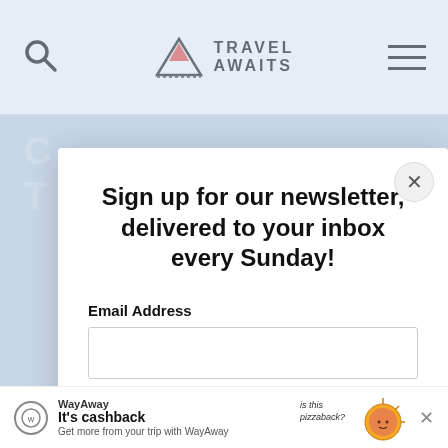Travel Awaits
Sign up for our newsletter, delivered to your inbox every Sunday!
Email Address
SIGN ME UP!
[Figure (screenshot): WayAway advertisement banner at the bottom: logo, 'It's cashback', 'Get more from your trip with WayAway', pizza illustration with text 'is this pizzaback?']